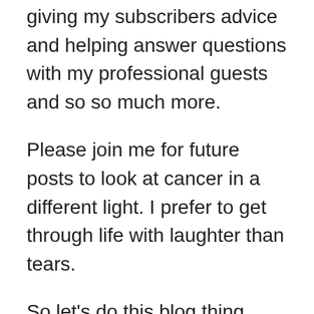giving my subscribers advice and helping answer questions with my professional guests and so so much more.
Please join me for future posts to look at cancer in a different light. I prefer to get through life with laughter than tears.
So let’s do this blog thing.
Hit the subscribe button below to receive notifications of new posts and updates